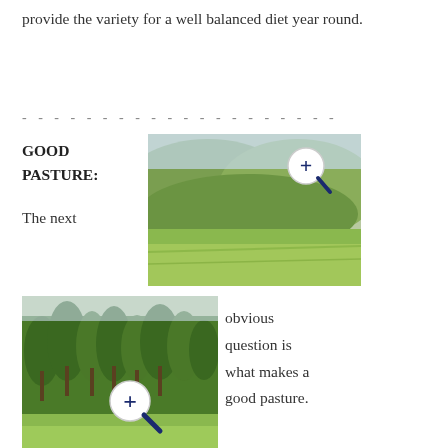provide the variety for a well balanced diet year round.
- - - - - - - - - - - - - - - - - - - -
GOOD PASTURE:
[Figure (photo): Aerial view of green pasture and rolling hills landscape]
[Figure (photo): Ground level view of trees and green pasture]
The next obvious question is what makes a good pasture. As a rule a minimum of 5 acres (two hectares) is required for each horse, however this can vary widely due to the climate, soil type and mineral deficiencies, whether the pasture has been improved (sown with non-native grass species) or is unimproved (mainly native grasses). The pasture should